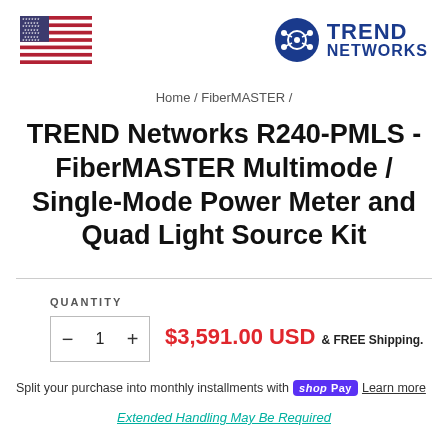[Figure (logo): US flag and Trend Networks logo]
Home / FiberMASTER /
TREND Networks R240-PMLS - FiberMASTER Multimode / Single-Mode Power Meter and Quad Light Source Kit
QUANTITY
- 1 +
$3,591.00 USD & FREE Shipping.
Split your purchase into monthly installments with shopPay Learn more
Extended Handling May Be Required